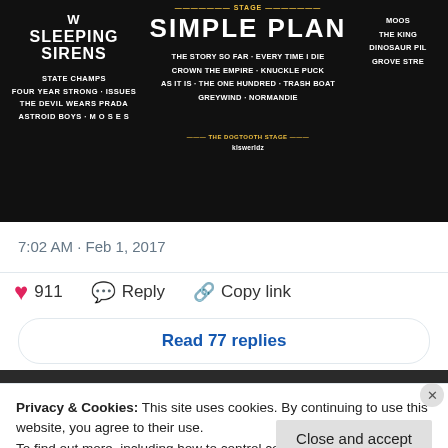[Figure (screenshot): Concert festival poster (partial screenshot) showing Sleeping Sirens, Simple Plan, and other band names on a black background]
7:02 AM · Feb 1, 2017
♥ 911  Reply  Copy link
Read 77 replies
Posted in Download Festival, News
Tagged A Day To Remember, Aaron Buchanan & The Cult Classics
Privacy & Cookies: This site uses cookies. By continuing to use this website, you agree to their use.
To find out more, including how to control cookies, see here: Cookie Policy
Close and accept